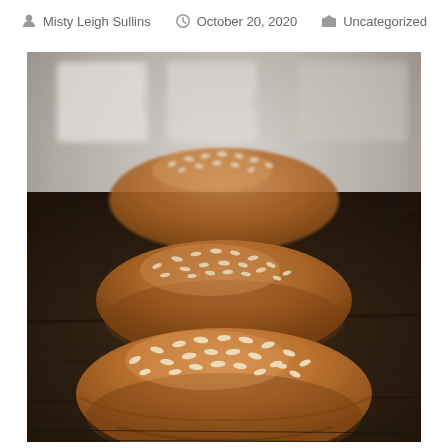Misty Leigh Sullins   October 20, 2020   Uncategorized
[Figure (photo): Three oval whole-grain bread rolls topped with rolled oats, arranged in a row on a wire cooling rack placed on a dark wooden surface. The rolls are golden-brown. Background shows a blurred white kitchen setting.]